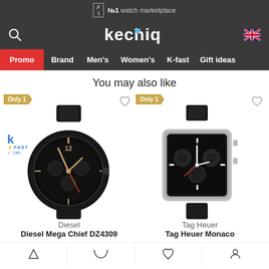№1 watch marketplace
[Figure (logo): Kechiq watch marketplace logo with search icon and UK flag]
[Figure (infographic): Navigation menu: Promo, Brand, Men's, Women's, K-fast, Gift ideas]
You may also like
[Figure (photo): Diesel Mega Chief DZ4309 chronograph watch in black with rose gold accents, with 'Only 1' badge and K-Fast 24h badge]
[Figure (photo): Tag Heuer Monaco square chronograph watch with black leather strap, with 'Only 1' badge]
Diesel
Diesel Mega Chief DZ4309
Tag Heuer
Tag Heuer Monaco